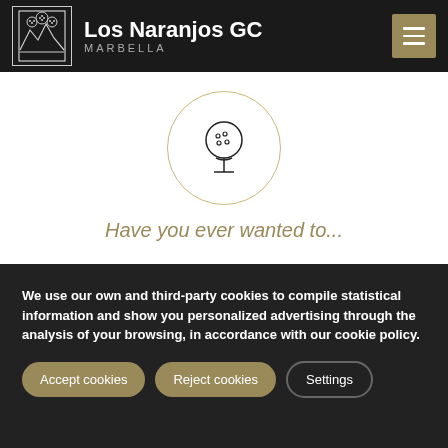Los Naranjos GC MARBELLA
[Figure (illustration): Golf ball on tee icon inside a circular border with golden/tan outline]
Have you ever wanted to...
We use our own and third-party cookies to compile statistical information and show you personalized advertising through the analysis of your browsing, in accordance with our cookie policy.
Accept cookies | Reject cookies | Settings